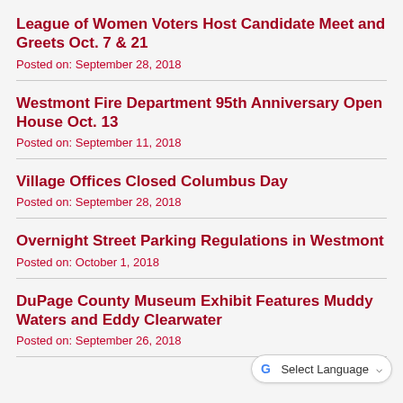League of Women Voters Host Candidate Meet and Greets Oct. 7 & 21
Posted on: September 28, 2018
Westmont Fire Department 95th Anniversary Open House Oct. 13
Posted on: September 11, 2018
Village Offices Closed Columbus Day
Posted on: September 28, 2018
Overnight Street Parking Regulations in Westmont
Posted on: October 1, 2018
DuPage County Museum Exhibit Features Muddy Waters and Eddy Clearwater
Posted on: September 26, 2018